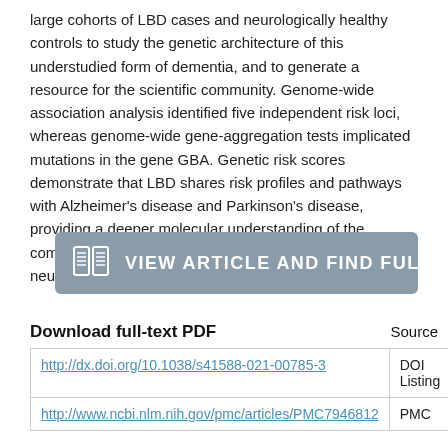large cohorts of LBD cases and neurologically healthy controls to study the genetic architecture of this understudied form of dementia, and to generate a resource for the scientific community. Genome-wide association analysis identified five independent risk loci, whereas genome-wide gene-aggregation tests implicated mutations in the gene GBA. Genetic risk scores demonstrate that LBD shares risk profiles and pathways with Alzheimer's disease and Parkinson's disease, providing a deeper molecular understanding of the complex genetic architecture of this age-related neurodegenerative condition.
[Figure (other): Button link: VIEW ARTICLE AND FIND FULL TEXT PDF with book icon]
| Download full-text PDF | Source |
| --- | --- |
| http://dx.doi.org/10.1038/s41588-021-00785-3 | DOI Listing |
| http://www.ncbi.nlm.nih.gov/pmc/articles/PMC7946812 | PMC |